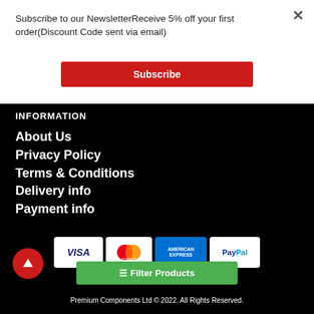Subscribe to our NewsletterReceive 5% off your first order(Discount Code sent via email)
Subscribe
INFORMATION
About Us
Privacy Policy
Terms & Conditions
Delivery info
Payment info
[Figure (other): Payment method icons: VISA, Mastercard, American Express, PayPal]
Premium Components Ltd © 2022. All Rights Reserved.